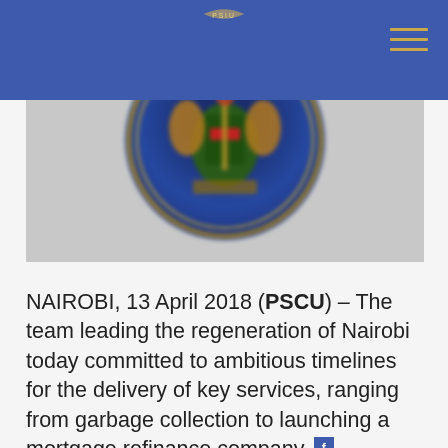PSCU News — navigation header with logo and hamburger menu
[Figure (photo): Blurred official Kenyan government seal/coat of arms on a blue/grey background]
NAIROBI, 13 April 2018 (PSCU) – The team leading the regeneration of Nairobi today committed to ambitious timelines for the delivery of key services, ranging from garbage collection to launching a mortgage refinance company.